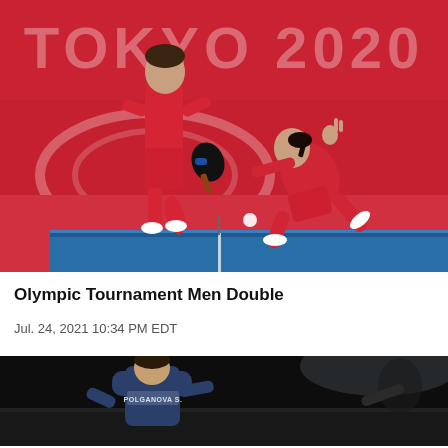[Figure (photo): Two table tennis players in red uniforms competing at Tokyo 2020 Olympics. A man stands in background while a woman lunges forward to hit a ball over a blue table. Large 'TOKYO 2020' text visible on red background banner.]
Olympic Tournament Men Double
Jul. 24, 2021 10:34 PM EDT
[Figure (photo): Dark scene showing a table tennis player from behind, with 'POLGANOVA S.' name visible. Dark arena background.]